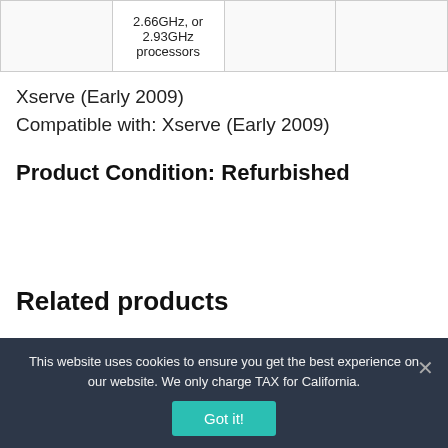|  | 2.66GHz, or 2.93GHz processors |  |  |
Xserve (Early 2009)
Compatible with: Xserve (Early 2009)
Product Condition: Refurbished
Related products
This website uses cookies to ensure you get the best experience on our website. We only charge TAX for California.
Got it!